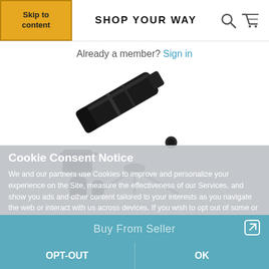Skip to content | SHOP YOUR WAY
Already a member? Sign in
[Figure (photo): Celestron telescope with tripod, smartphone mount adapter, and eyepieces]
Cookie Consent Notice
We and our partners use Cookies to improve and personalize your experience on the Site, measure the effectiveness of our Services, and show you ads and other content tailored to your interests as you navigate the web or interact with us across devices. If you wish to opt out of some or all Cookies used on the Site, please click on the OPT-OUT button. Otherwise, click OK to dismiss this banner. Privacy Policy.
THIS IS SPONSORED CONTENT FEATURING SYW'S AFFILIATE PARTNER
Buy From Seller
OPT-OUT
OK